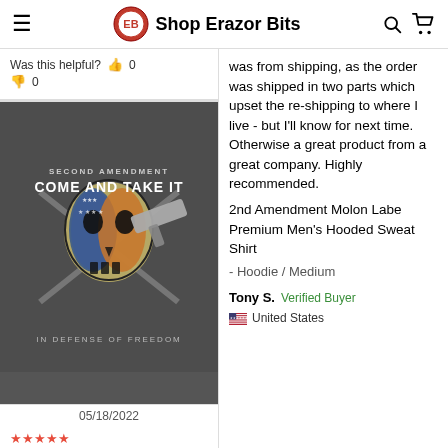Shop Erazor Bits
Was this helpful? 👍 0
👎 0
[Figure (photo): Photo of a dark grey hoodie/sweatshirt with a Second Amendment design featuring a skull with American flag colors, crossed rifles, a handgun, and text reading 'SECOND AMENDMENT COME AND TAKE IT' and 'IN DEFENSE OF FREEDOM']
05/18/2022
was from shipping, as the order was shipped in two parts which upset the re-shipping to where I live - but I'll know for next time. Otherwise a great product from a great company. Highly recommended. 2nd Amendment Molon Labe Premium Men's Hooded Sweat Shirt
- Hoodie / Medium
Tony S. Verified Buyer United States